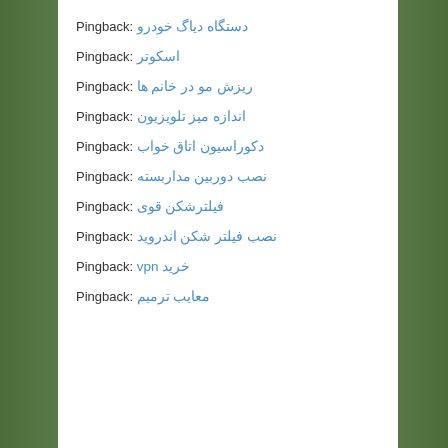Pingback: دستگاه دیاگ خودرو
Pingback: اسکوتر
Pingback: ریزش مو در خانم ها
Pingback: اندازه میز تلویزیون
Pingback: دکوراسیون اتاق خواب
Pingback: نصب دوربین مداربسته
Pingback: فیلترشکن قوی
Pingback: نصب فیلتر شکن اندروید
Pingback: خرید vpn
Pingback: معایب ترمیم